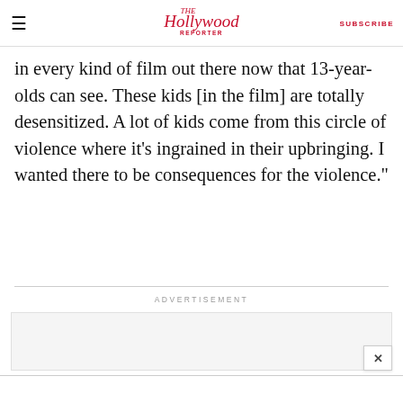The Hollywood Reporter | SUBSCRIBE
in every kind of film out there now that 13-year-olds can see. These kids [in the film] are totally desensitized. A lot of kids come from this circle of violence where it’s ingrained in their upbringing. I wanted there to be consequences for the violence.”
ADVERTISEMENT